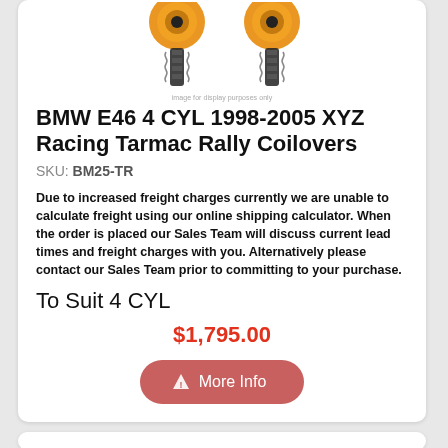[Figure (photo): Product photo of orange/gold coilover suspension set (XYZ Racing Tarmac Rally Coilovers), partially cropped at top of card]
image for display purposes only
BMW E46 4 CYL 1998-2005 XYZ Racing Tarmac Rally Coilovers
SKU: BM25-TR
Due to increased freight charges currently we are unable to calculate freight using our online shipping calculator. When the order is placed our Sales Team will discuss current lead times and freight charges with you. Alternatively please contact our Sales Team prior to committing to your purchase.
To Suit 4 CYL
$1,795.00
More Info